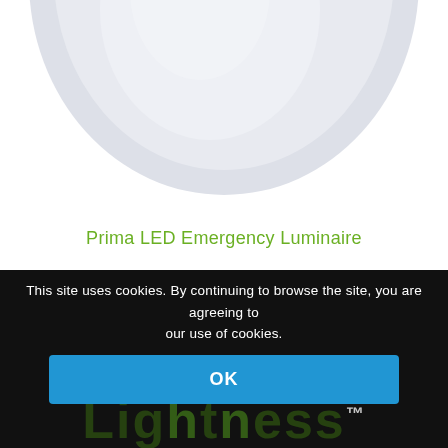[Figure (photo): A round white LED emergency luminaire fixture photographed from below, showing a white circular diffuser panel on a grey dome-shaped housing. The bottom half of the fixture is visible.]
Prima LED Emergency Luminaire
This site uses cookies. By continuing to browse the site, you are agreeing to our use of cookies.
OK
Lightness™